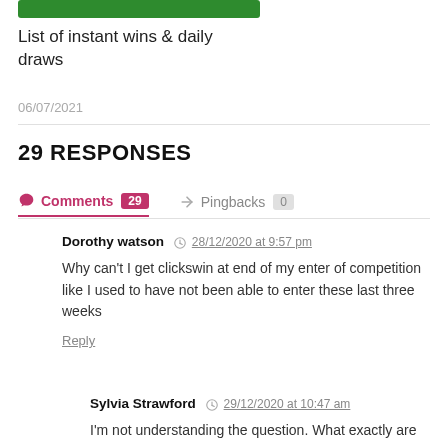[Figure (other): Green button bar at top]
List of instant wins & daily draws
06/07/2021
29 RESPONSES
Comments 29   Pingbacks 0
Dorothy watson  28/12/2020 at 9:57 pm
Why can't I get clickswin at end of my enter of competition like I used to have not been able to enter these last three weeks
Reply
Sylvia Strawford  29/12/2020 at 10:47 am
I'm not understanding the question. What exactly are you...